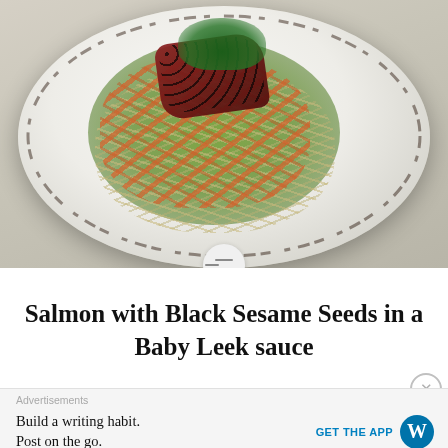[Figure (photo): Overhead view of a white plate with Salmon with Black Sesame Seeds in a Baby Leek sauce dish — salmon topped with black sesame seeds and herb garnish on a bed of julienned carrots and green noodles in a bright green sauce, with dark balsamic drizzle around the plate]
Salmon with Black Sesame Seeds in a Baby Leek sauce
Advertisements
Build a writing habit. Post on the go.
GET THE APP